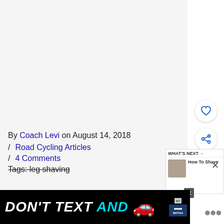[Figure (screenshot): Light gray blank/placeholder content area above the byline]
By Coach Levi on August 14, 2018
/ Road Cycling Articles
/ 4 Comments
Tags: leg shaving
[Figure (screenshot): Sidebar with heart icon button, share icon button, and upward chevron navigation button]
[Figure (screenshot): WHAT'S NEXT panel showing How To Shave article thumbnail]
[Figure (photo): DON'T TEXT AND [car emoji] advertisement banner from NHTSA]